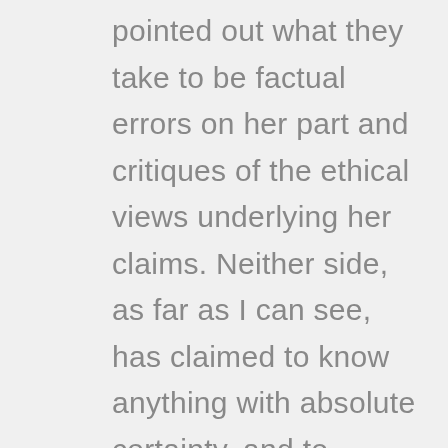pointed out what they take to be factual errors on her part and critiques of the ethical views underlying her claims. Neither side, as far as I can see, has claimed to know anything with absolute certainty, and to suggest otherwise is simply uncharitable to all the people in this forum.What I find disagreeable about both of your comments is that both of you wrote acerbic ad hominem attacks on the people defending veganism here, but